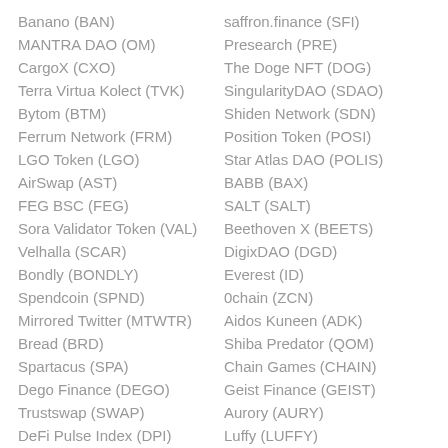Banano (BAN)
MANTRA DAO (OM)
CargoX (CXO)
Terra Virtua Kolect (TVK)
Bytom (BTM)
Ferrum Network (FRM)
LGO Token (LGO)
AirSwap (AST)
FEG BSC (FEG)
Sora Validator Token (VAL)
Velhalla (SCAR)
Bondly (BONDLY)
Spendcoin (SPND)
Mirrored Twitter (MTWTR)
Bread (BRD)
Spartacus (SPA)
Dego Finance (DEGO)
Trustswap (SWAP)
DeFi Pulse Index (DPI)
saffron.finance (SFI)
Presearch (PRE)
The Doge NFT (DOG)
SingularityDAO (SDAO)
Shiden Network (SDN)
Position Token (POSI)
Star Atlas DAO (POLIS)
BABB (BAX)
SALT (SALT)
Beethoven X (BEETS)
DigixDAO (DGD)
Everest (ID)
0chain (ZCN)
Aidos Kuneen (ADK)
Shiba Predator (QOM)
Chain Games (CHAIN)
Geist Finance (GEIST)
Aurory (AURY)
Luffy (LUFFY)